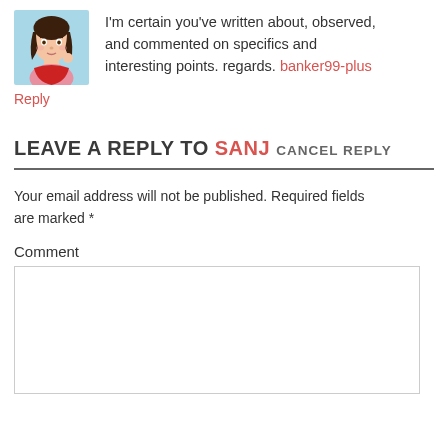[Figure (illustration): Avatar illustration of a young woman with brown hair, wearing a red/pink scarf and pink top, on a light blue background]
I'm certain you've written about, observed, and commented on specifics and interesting points. regards. banker99-plus
Reply
LEAVE A REPLY TO SANJ CANCEL REPLY
Your email address will not be published. Required fields are marked *
Comment